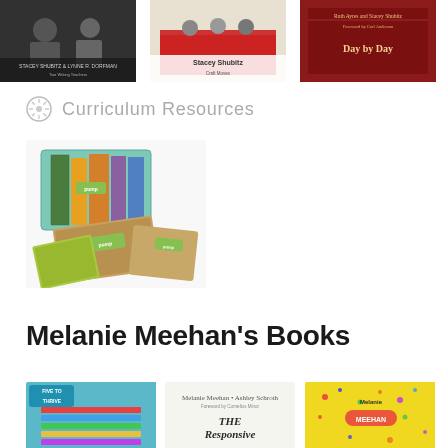[Figure (photo): Three book covers by Stacey Shubitz and co-authors displayed side by side at top of page]
Curriculum Resources
[Figure (photo): Curriculum resource kit box with colorful notebooks and materials labeled 'pump']
Melanie Meehan's Books
[Figure (photo): Three book covers by Melanie Meehan: Five to Thrive, The Responsive, and another yellow cover]